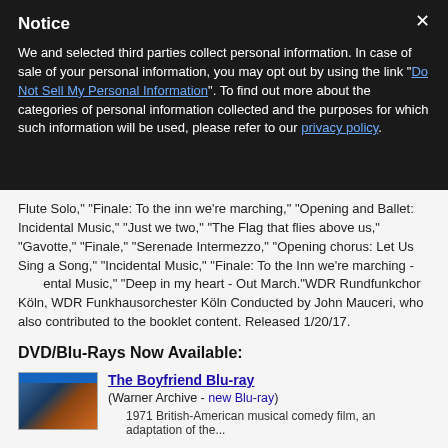Notice
We and selected third parties collect personal information. In case of sale of your personal information, you may opt out by using the link "Do Not Sell My Personal Information". To find out more about the categories of personal information collected and the purposes for which such information will be used, please refer to our privacy policy.
Flute Solo," "Finale: To the inn we're marching," "Opening and Ballet: Incidental Music," "Just we two," "The Flag that flies above us," "Gavotte," "Finale," "Serenade Intermezzo," "Opening chorus: Let Us Sing a Song," "Incidental Music," "Finale: To the Inn we're marching - Incidental Music," "Deep in my heart - Out March."WDR Rundfunkchor Köln, WDR Funkhausorchester Köln Conducted by John Mauceri, who also contributed to the booklet content. Released 1/20/17.
DVD/Blu-Rays Now Available:
The Boyfriend Blu-ray
(Warner Archive - new Blu-ray)
1971 British-American musical comedy film, an adaptation of the...